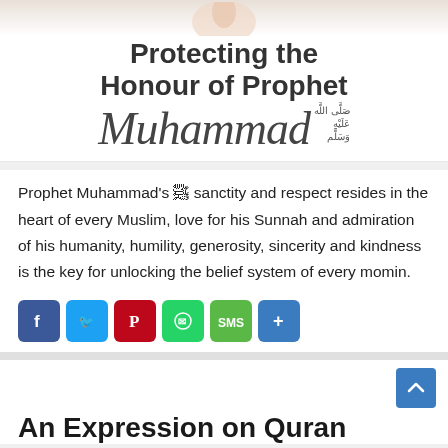[Figure (illustration): Book cover image showing 'Protecting the Honour of Prophet Muhammad' with a hand holding or blessing gesture at the top, bold sans-serif text and script lettering, with Arabic calligraphy to the right of the name Muhammad.]
Prophet Muhammad's ﷺ sanctity and respect resides in the heart of every Muslim, love for his Sunnah and admiration of his humanity, humility, generosity, sincerity and kindness is the key for unlocking the belief system of every momin.
[Figure (infographic): Social sharing buttons row: Facebook (blue), Twitter (light blue), Pinterest (red), WhatsApp (green), SMS (green), Share (blue).]
An Expression on Quran